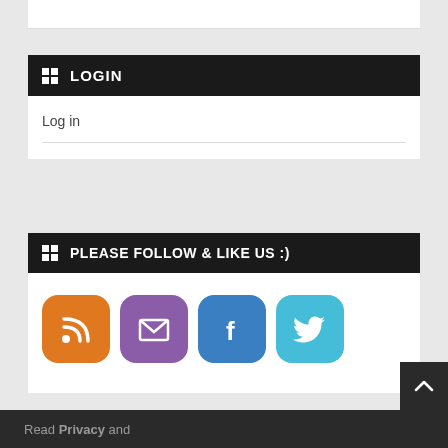LOGIN
Log in
PLEASE FOLLOW & LIKE US :)
[Figure (illustration): Four social media icon buttons: RSS (orange), Email (purple), Facebook (blue), Twitter (light blue)]
Read Privacy and